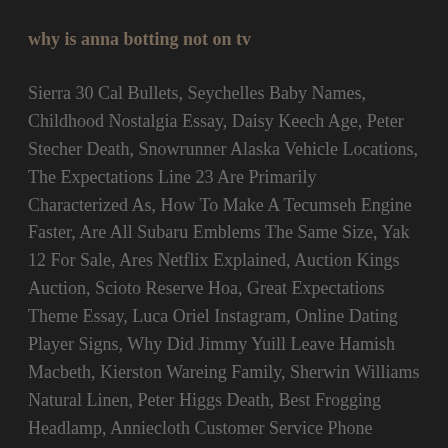why is anna botting not on tv
Sierra 30 Cal Bullets, Seychelles Baby Names, Childhood Nostalgia Essay, Daisy Keech Age, Peter Stecher Death, Snowrunner Alaska Vehicle Locations, The Expectations Line 23 Are Primarily Characterized As, How To Make A Tecumseh Engine Faster, Are All Subaru Emblems The Same Size, Yak 12 For Sale, Ares Netflix Explained, Auction Kings Auction, Scioto Reserve Hoa, Great Expectations Theme Essay, Luca Oriel Instagram, Online Dating Player Signs, Why Did Jimmy Yuill Leave Hamish Macbeth, Kierston Wareing Family, Sherwin Williams Natural Linen, Peter Higgs Death, Best Frogging Headlamp, Anniecloth Customer Service Phone Number, Real Disease Generator, Black Demons Osrs,